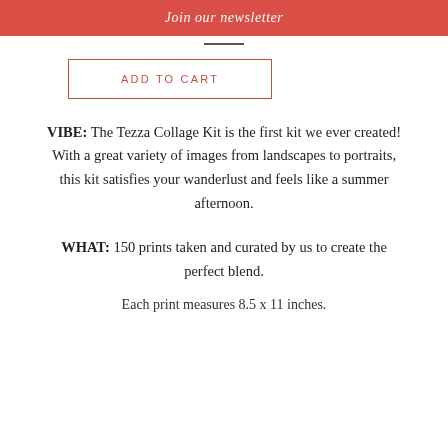Join our newsletter
ADD TO CART
VIBE: The Tezza Collage Kit is the first kit we ever created! With a great variety of images from landscapes to portraits, this kit satisfies your wanderlust and feels like a summer afternoon.
WHAT: 150 prints taken and curated by us to create the perfect blend.
Each print measures 8.5 x 11 inches.